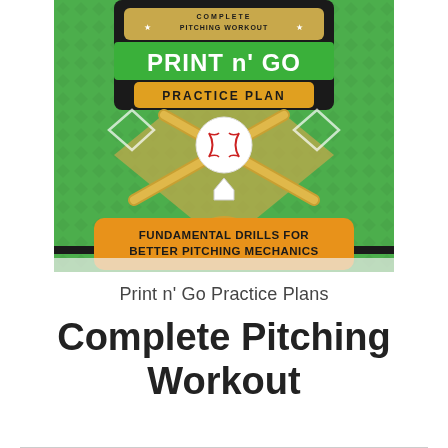[Figure (illustration): Cover image of 'Complete Pitching Workout Print n' Go Practice Plan' book with baseball diamond, crossed bats, baseball, and text 'Fundamental Drills for Better Pitching Mechanics' on an orange banner, green background]
Print n' Go Practice Plans
Complete Pitching Workout